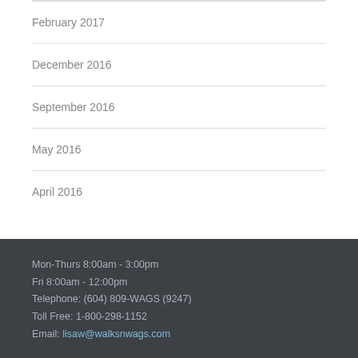February 2017
December 2016
September 2016
May 2016
April 2016
Mon-Thurs 8:00am - 3:00pm
Fri 8:00am - 12:00pm
Telephone: (604) 809-WAGS (9247)
Toll Free: 1-800-298-1152
Email: lisaw@walksnwags.com